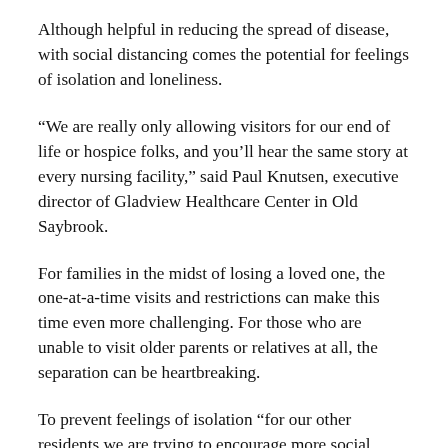Although helpful in reducing the spread of disease, with social distancing comes the potential for feelings of isolation and loneliness.
“We are really only allowing visitors for our end of life or hospice folks, and you’ll hear the same story at every nursing facility,” said Paul Knutsen, executive director of Gladview Healthcare Center in Old Saybrook.
For families in the midst of losing a loved one, the one-at-a-time visits and restrictions can make this time even more challenging. For those who are unable to visit older parents or relatives at all, the separation can be heartbreaking.
To prevent feelings of isolation “for our other residents we are trying to encourage more social media stuff and conversations via facetime on the tablets and iphones we have available to them,” Knutsen said.